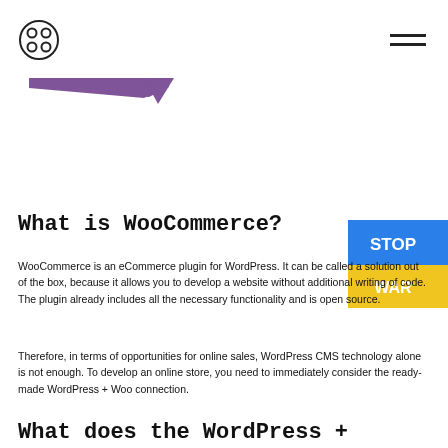[Figure (logo): Circle logo with four dots arranged in a 2x2 grid pattern]
[Figure (illustration): WooCommerce logo - purple geometric arrow/chevron shape]
[Figure (illustration): Stop War badge - blue and yellow ribbon with STOP WAR text]
What is WooCommerce?
WooCommerce is an eCommerce plugin for WordPress. It can be called a solution out of the box, because it allows you to develop a website without additional writing of code. The plugin already includes all the necessary functionality and is open source.
Therefore, in terms of opportunities for online sales, WordPress CMS technology alone is not enough. To develop an online store, you need to immediately consider the ready-made WordPress + Woo connection.
What does the WordPress +